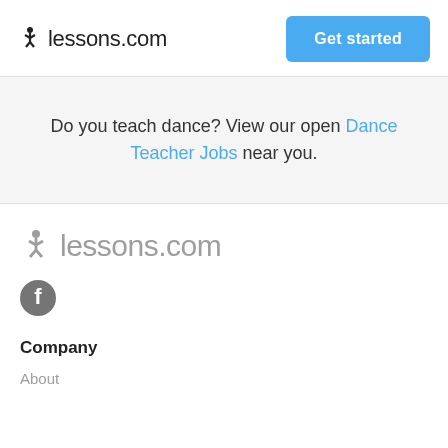lessons.com  Get started
Do you teach dance? View our open Dance Teacher Jobs near you.
[Figure (logo): lessons.com logo in gray with stick figure icon]
[Figure (logo): Facebook icon circle]
Company
About